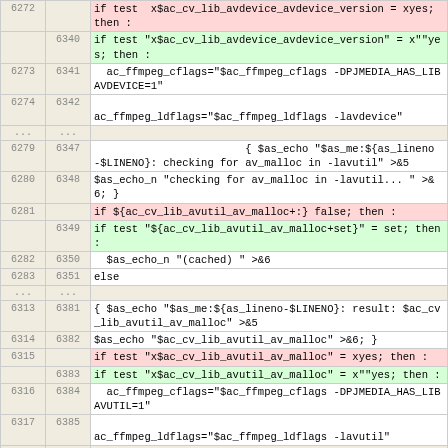| old | new | code |
| --- | --- | --- |
| 6272 |  | if test  x$ac_cv_lib_avdevice_avdevice_version = xyes; then : |
|  | 6340 | if test "x$ac_cv_lib_avdevice_avdevice_version" = x""yes; then : |
| 6273 | 6341 |   ac_ffmpeg_cflags="$ac_ffmpeg_cflags -DPJMEDIA_HAS_LIBAVDEVICE=1" |
| 6274 | 6342 | ac_ffmpeg_ldflags="$ac_ffmpeg_ldflags -lavdevice" |
| ... | ... |  |
| 6279 | 6347 | { $as_echo "$as_me:${as_lineno-$LINENO}: checking for av_malloc in -lavutil" >&5 |
| 6280 | 6348 | $as_echo_n "checking for av_malloc in -lavutil... " >&6; } |
| 6281 |  | if ${ac_cv_lib_avutil_av_malloc+:} false; then : |
|  | 6349 | if test "${ac_cv_lib_avutil_av_malloc+set}" = set; then : |
| 6282 | 6350 |   $as_echo_n "(cached) " >&6 |
| 6283 | 6351 | else |
| ... | ... |  |
| 6313 | 6381 | { $as_echo "$as_me:${as_lineno-$LINENO}: result: $ac_cv_lib_avutil_av_malloc" >&5 |
| 6314 | 6382 | $as_echo "$ac_cv_lib_avutil_av_malloc" >&6; } |
| 6315 |  | if test "x$ac_cv_lib_avutil_av_malloc" = xyes; then : |
|  | 6383 | if test "x$ac_cv_lib_avutil_av_malloc" = x""yes; then : |
| 6316 | 6384 |   ac_ffmpeg_cflags="$ac_ffmpeg_cflags -DPJMEDIA_HAS_LIBAVUTIL=1" |
| 6317 | 6385 | ac_ffmpeg_ldflags="$ac_ffmpeg_ldflags -lavutil" |
| ... | ... |  |
| 6322 | 6390 | { $as_echo |